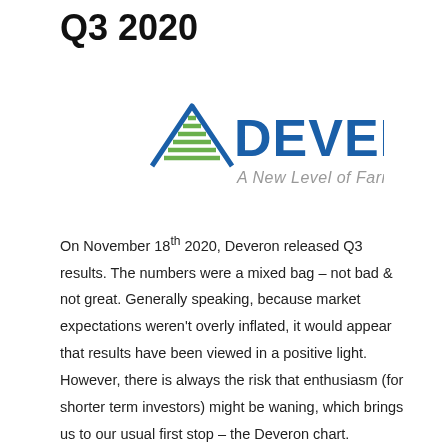Q3 2020
[Figure (logo): Deveron logo with green and blue mountain/checkmark icon and tagline 'A New Level of Farming']
On November 18th 2020, Deveron released Q3 results. The numbers were a mixed bag – not bad & not great. Generally speaking, because market expectations weren't overly inflated, it would appear that results have been viewed in a positive light. However, there is always the risk that enthusiasm (for shorter term investors) might be waning, which brings us to our usual first stop – the Deveron chart.